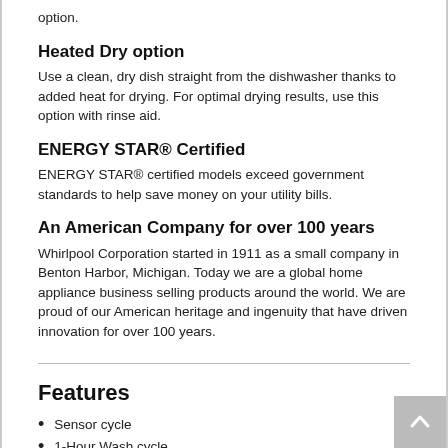option.
Heated Dry option
Use a clean, dry dish straight from the dishwasher thanks to added heat for drying. For optimal drying results, use this option with rinse aid.
ENERGY STAR® Certified
ENERGY STAR® certified models exceed government standards to help save money on your utility bills.
An American Company for over 100 years
Whirlpool Corporation started in 1911 as a small company in Benton Harbor, Michigan. Today we are a global home appliance business selling products around the world. We are proud of our American heritage and ingenuity that have driven innovation for over 100 years.
Features
Sensor cycle
1-Hour Wash cycle